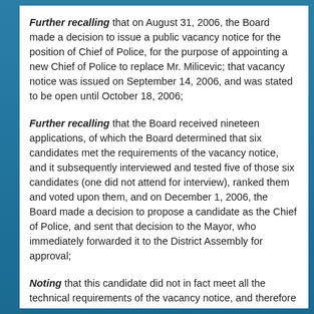Further recalling that on August 31, 2006, the Board made a decision to issue a public vacancy notice for the position of Chief of Police, for the purpose of appointing a new Chief of Police to replace Mr. Milicevic; that vacancy notice was issued on September 14, 2006, and was stated to be open until October 18, 2006;
Further recalling that the Board received nineteen applications, of which the Board determined that six candidates met the requirements of the vacancy notice, and it subsequently interviewed and tested five of those six candidates (one did not attend for interview), ranked them and voted upon them, and on December 1, 2006, the Board made a decision to propose a candidate as the Chief of Police, and sent that decision to the Mayor, who immediately forwarded it to the District Assembly for approval;
Noting that this candidate did not in fact meet all the technical requirements of the vacancy notice, and therefore is formally disqualified from candidacy for the position of Chief of Police;